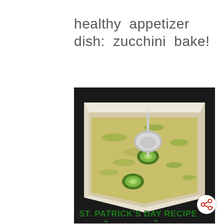healthy appetizer dish: zucchini bake!
[Figure (photo): A white baking dish containing a zucchini bake — a cheesy, herb-flecked egg and zucchini casserole with sliced zucchini rounds on top and a silver spoon resting in the dish. At the bottom of the image, green bold text reads 'ST. PATRICK'S DAY RECIPE'.]